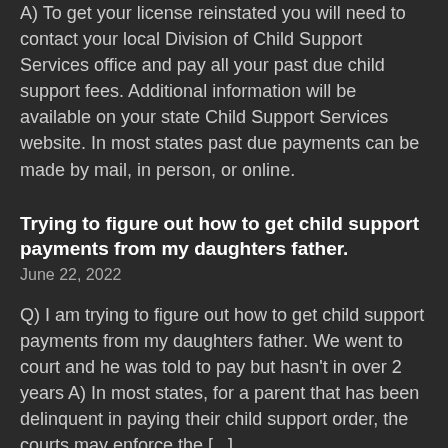A) To get your license reinstated you will need to contact your local Division of Child Support Services office and pay all your past due child support fees. Additional information will be available on your state Child Support Services website. In most states past due payments can be made by mail, in person, or online.
Trying to figure out how to get child support payments from my daughters father.
June 22, 2022
Q) I am trying to figure out how to get child support payments from my daughters father. We went to court and he was told to pay but hasn't in over 2 years A) In most states, for a parent that has been delinquent in paying their child support order, the courts may enforce the [...]